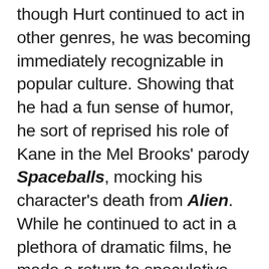though Hurt continued to act in other genres, he was becoming immediately recognizable in popular culture. Showing that he had a fun sense of humor, he sort of reprised his role of Kane in the Mel Brooks' parody Spaceballs, mocking his character's death from Alien. While he continued to act in a plethora of dramatic films, he made a return to speculative fiction as S.R. Hadden in the Robert Zemeckis film Contact, and despite the fact that he had only a small supporting role, he found a way to play the part with a "larger than life" approach, but not at the risk of overshadowing the only actor he shared any screen-time with, star Jodie Foster. However, his most